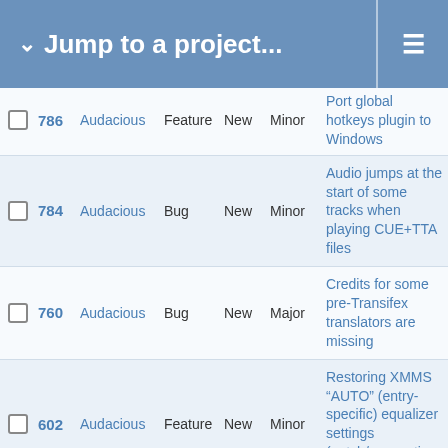Jump to a project...
|  | # | Project | Type | Status | Priority | Description |
| --- | --- | --- | --- | --- | --- | --- |
|  | 786 | Audacious | Feature | New | Minor | Port global hotkeys plugin to Windows |
|  | 784 | Audacious | Bug | New | Minor | Audio jumps at the start of some tracks when playing CUE+TTA files |
|  | 760 | Audacious | Bug | New | Major | Credits for some pre-Transifex translators are missing |
|  | 602 | Audacious | Feature | New | Minor | Restoring XMMS "AUTO" (entry-specific) equalizer settings (patch/suggestion included). |
|  | 585 | Audacious | Bug | New | Minor | "Remove Unavailable Files" temporarily freezes UI |